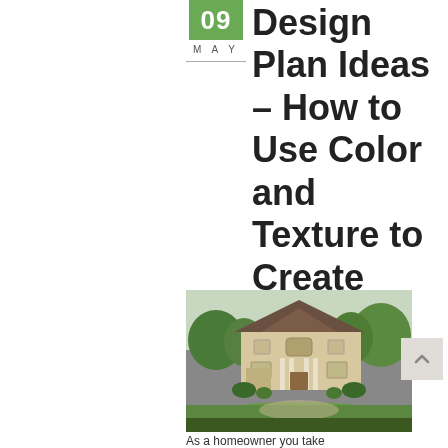Design Plan Ideas – How to Use Color and Texture to Create Your Relaxing Retreat
[Figure (photo): Exterior photograph of a large two-story luxury home with beige stucco finish, dark brown roof, columns at the entrance, green landscaping, and a circular driveway surrounded by a large green lawn and trees in the background.]
As a homeowner you take